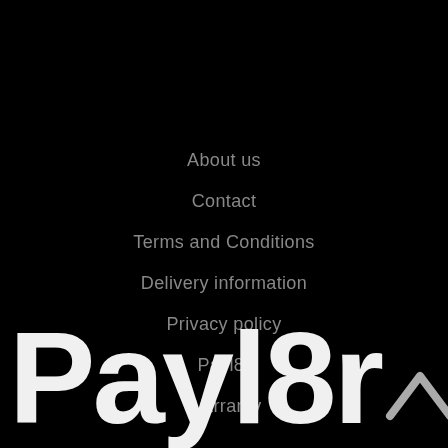About us
Contact
Terms and Conditions
Delivery information
Privacy policy
Payl8r
Warranty
[Figure (logo): Payl8r logo in large white rounded bold font on black background, with a caret/chevron up arrow to the right]